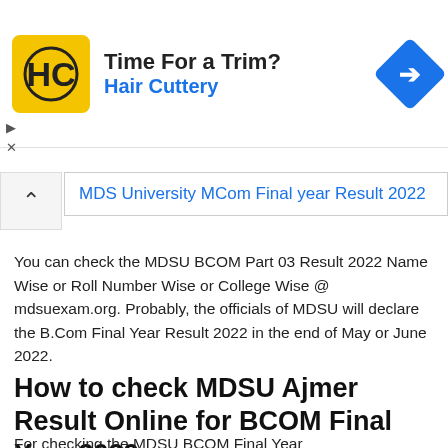[Figure (other): Advertisement banner for Hair Cuttery with HC logo, text 'Time For a Trim? Hair Cuttery', and a blue navigation arrow icon. Small play and X controls below on left.]
MDS University MCom Final year Result 2022
You can check the MDSU BCOM Part 03 Result 2022 Name Wise or Roll Number Wise or College Wise @ mdsuexam.org. Probably, the officials of MDSU will declare the B.Com Final Year Result 2022 in the end of May or June 2022.
How to check MDSU Ajmer Result Online for BCOM Final Year 2022
For checking the MDSU BCOM Final Year